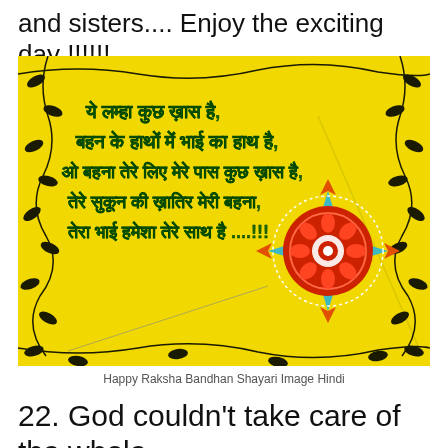and sisters.... Enjoy the exciting day !!!!!!
[Figure (illustration): Happy Raksha Bandhan greeting card with yellow background, decorative vine border with black leaves, Hindi Shayari text in green, and a decorative rakhi ornament (red mandala design with blue star shape and orange diamonds) on the right side.]
Happy Raksha Bandhan Shayari Image Hindi
22. God couldn't take care of the whole